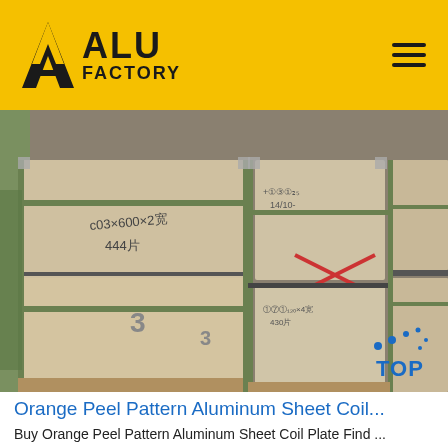ALU FACTORY
[Figure (photo): Wooden crates/packaging boxes stacked in a warehouse, containing aluminum sheet coil plates with handwritten Chinese labels indicating dimensions and quantities. Green strapping bands secure the wooden boxes.]
Orange Peel Pattern Aluminum Sheet Coil...
Buy Orange Peel Pattern Aluminum Sheet Coil Plate Find ...